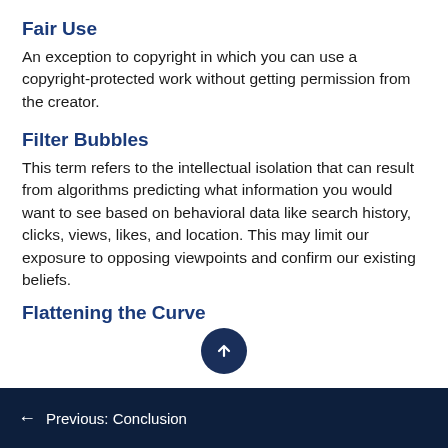Fair Use
An exception to copyright in which you can use a copyright-protected work without getting permission from the creator.
Filter Bubbles
This term refers to the intellectual isolation that can result from algorithms predicting what information you would want to see based on behavioral data like search history, clicks, views, likes, and location. This may limit our exposure to opposing viewpoints and confirm our existing beliefs.
Flattening the Curve
← Previous: Conclusion